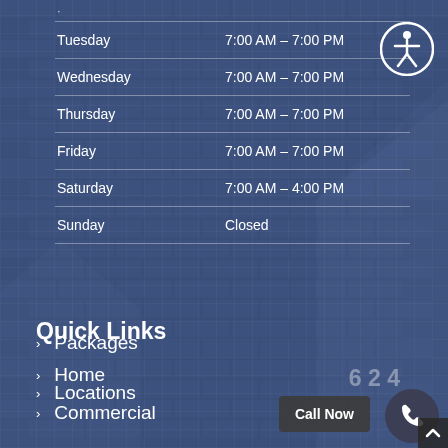| Day | Hours |
| --- | --- |
| Tuesday | 7:00 AM – 7:00 PM |
| Wednesday | 7:00 AM – 7:00 PM |
| Thursday | 7:00 AM – 7:00 PM |
| Friday | 7:00 AM – 7:00 PM |
| Saturday | 7:00 AM – 4:00 PM |
| Sunday | Closed |
Quick Links
Home
Commercial
Packages
Locations